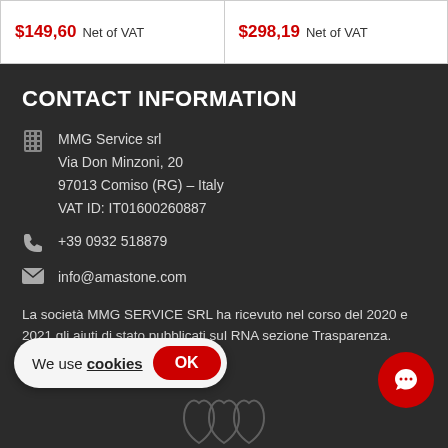$149,60 Net of VAT
$298,19 Net of VAT
CONTACT INFORMATION
MMG Service srl
Via Don Minzoni, 20
97013 Comiso (RG) – Italy
VAT ID: IT01600260887
+39 0932 518879
info@amastone.com
La società MMG SERVICE SRL ha ricevuto nel corso del 2020 e 2021 gli aiuti di stato pubblicati sul RNA sezione Trasparenza.
We use cookies OK